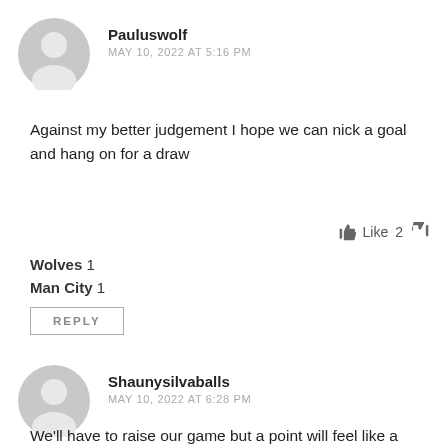[Figure (illustration): Gray circular avatar icon for user Pauluswolf]
Pauluswolf
MAY 10, 2022 AT 5:16 PM
Against my better judgement I hope we can nick a goal and hang on for a draw
Like 2
Wolves 1
Man City 1
REPLY
[Figure (illustration): Gray circular avatar icon for user Shaunysilvaballs]
Shaunysilvaballs
MAY 10, 2022 AT 6:28 PM
We'll have to raise our game but a point will feel like a win, a fighting loss will feel like a win but please let's